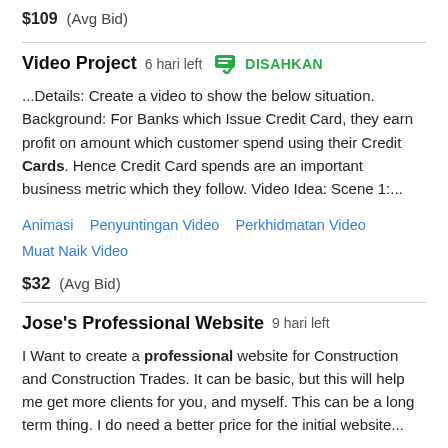$109  (Avg Bid)
Video Project  6 hari left  DISAHKAN
...Details: Create a video to show the below situation. Background: For Banks which Issue Credit Card, they earn profit on amount which customer spend using their Credit Cards. Hence Credit Card spends are an important business metric which they follow. Video Idea: Scene 1:...
Animasi   Penyuntingan Video   Perkhidmatan Video   Muat Naik Video
$32  (Avg Bid)
Jose's Professional Website  9 hari left
I Want to create a professional website for Construction and Construction Trades. It can be basic, but this will help me get more clients for you, and myself. This can be a long term thing. I do need a better price for the initial website...